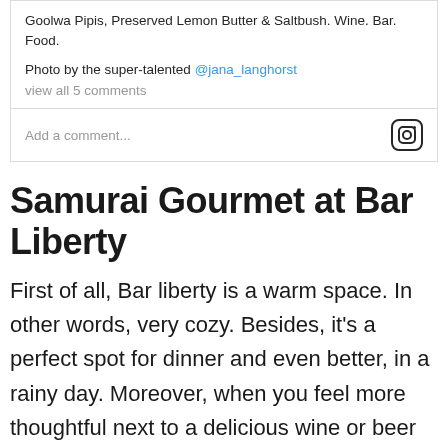Goolwa Pipis, Preserved Lemon Butter & Saltbush. Wine. Bar. Food.
Photo by the super-talented @jana_langhorst
view all 5 comments
Add a comment...
Samurai Gourmet at Bar Liberty
First of all, Bar liberty is a warm space. In other words, very cozy. Besides, it's a perfect spot for dinner and even better, in a rainy day. Moreover, when you feel more thoughtful next to a delicious wine or beer